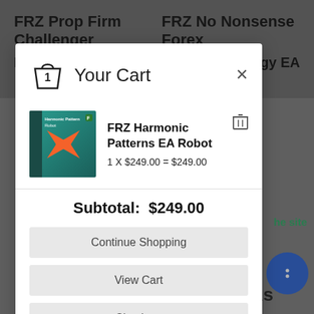FRZ Prop Firm Challenger EA – FTMO EA | FRZ No Nonsense Forex Strategy EA
Your Cart
[Figure (screenshot): Shopping cart modal showing FRZ Harmonic Patterns EA Robot product with price 1 X $249.00 = $249.00, subtotal $249.00, and buttons: Continue Shopping, View Cart, Checkout]
FRZ Harmonic Patterns EA Robot
1 X $249.00 = $249.00
Subtotal:  $249.00
Continue Shopping
View Cart
Checkout